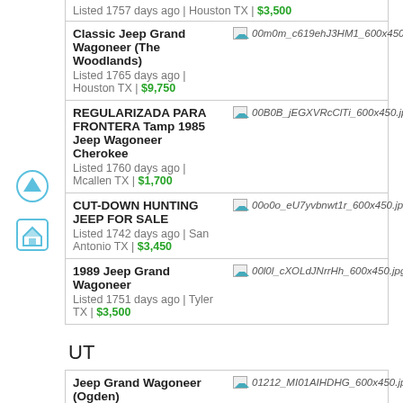Listed 1757 days ago | Houston TX | $3,500
Classic Jeep Grand Wagoneer (The Woodlands)
Listed 1765 days ago | Houston TX | $9,750
REGULARIZADA PARA FRONTERA Tamp 1985 Jeep Wagoneer Cherokee
Listed 1760 days ago | Mcallen TX | $1,700
CUT-DOWN HUNTING JEEP FOR SALE
Listed 1742 days ago | San Antonio TX | $3,450
1989 Jeep Grand Wagoneer
Listed 1751 days ago | Tyler TX | $3,500
UT
Jeep Grand Wagoneer (Ogden)
01212_MI01AIHDHG_600x450.jpg